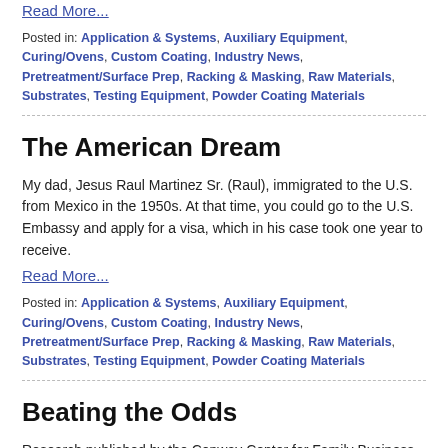Read More...
Posted in: Application & Systems, Auxiliary Equipment, Curing/Ovens, Custom Coating, Industry News, Pretreatment/Surface Prep, Racking & Masking, Raw Materials, Substrates, Testing Equipment, Powder Coating Materials
The American Dream
My dad, Jesus Raul Martinez Sr. (Raul), immigrated to the U.S. from Mexico in the 1950s. At that time, you could go to the U.S. Embassy and apply for a visa, which in his case took one year to receive.
Read More...
Posted in: Application & Systems, Auxiliary Equipment, Curing/Ovens, Custom Coating, Industry News, Pretreatment/Surface Prep, Racking & Masking, Raw Materials, Substrates, Testing Equipment, Powder Coating Materials
Beating the Odds
Research published by the Conway Center for Family Business states that 80 to 90% of U.S. businesses are family owned. While thirty percent of these